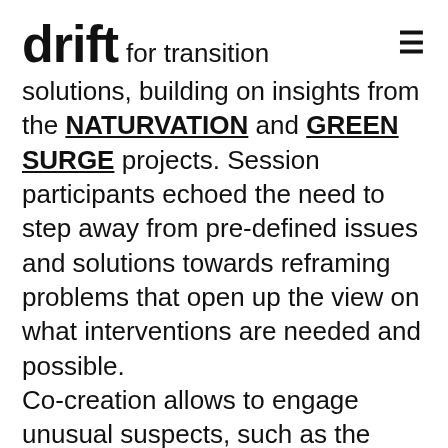drift for transition
solutions, building on insights from the NATURVATION and GREEN SURGE projects. Session participants echoed the need to step away from pre-defined issues and solutions towards reframing problems that open up the view on what interventions are needed and possible.
Co-creation allows to engage unusual suspects, such as the horticulture industry, and to thus